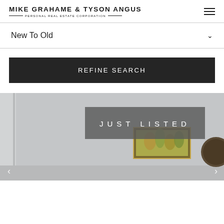MIKE GRAHAME & TYSON ANGUS PERSONAL REAL ESTATE CORPORATION
New To Old
REFINE SEARCH
[Figure (photo): Interior room photo with a 'JUST LISTED' banner overlay. Shows a room with grey walls, curtains on the left, a landscape painting on the wall, and a decorative clock on the right.]